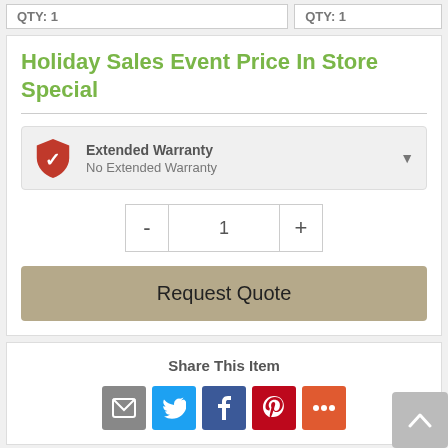QTY: 1
QTY: 1
Holiday Sales Event Price In Store Special
Extended Warranty
No Extended Warranty
- 1 +
Request Quote
Share This Item
[Figure (infographic): Social share icons: Email, Twitter, Facebook, Pinterest, More]